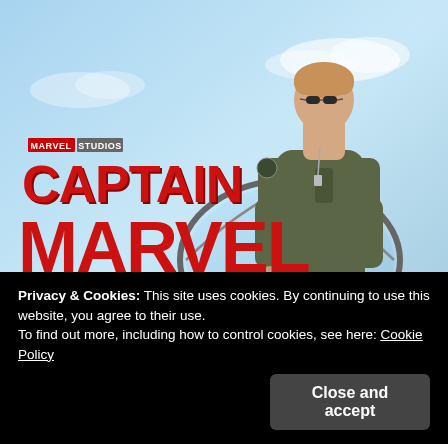[Figure (photo): Captain Marvel movie promotional image: Woman in green military flight suit and sunglasses standing in fighter jet cockpit against blue sky, with Marvel Studios 'Captain Marvel' logo overlaid on the left]
Privacy & Cookies: This site uses cookies. By continuing to use this website, you agree to their use.
To find out more, including how to control cookies, see here: Cookie Policy
Close and accept
published and the star had plenty of great things to say about the film and her role in it.